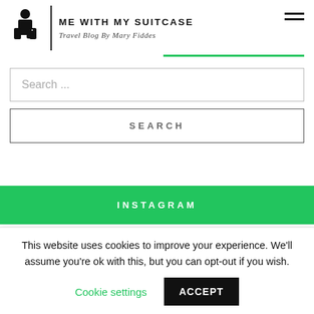[Figure (logo): Me With My Suitcase travel blog logo with silhouette of person with suitcase, vertical divider, site name and tagline]
Search ...
SEARCH
INSTAGRAM
This website uses cookies to improve your experience. We'll assume you're ok with this, but you can opt-out if you wish.
Cookie settings
ACCEPT